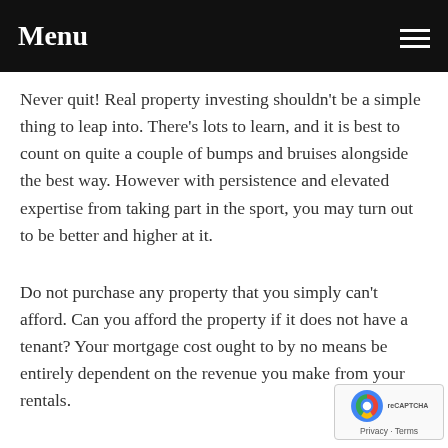Menu
Never quit! Real property investing shouldn't be a simple thing to leap into. There's lots to learn, and it is best to count on quite a couple of bumps and bruises alongside the best way. However with persistence and elevated expertise from taking part in the sport, you may turn out to be better and higher at it.
Do not purchase any property that you simply can't afford. Can you afford the property if it does not have a tenant? Your mortgage cost ought to by no means be entirely dependent on the revenue you make from your rentals.
Stick with Anyone Can Grow to be Educated About Real Estate Investing With These Easy Ideas of real estate if you